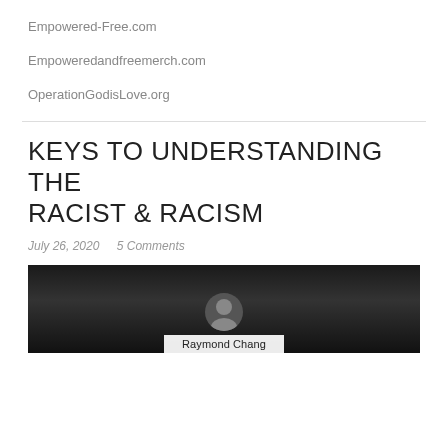Empowered-Free.com
Empoweredandfreemerch.com
OperationGodisLove.org
KEYS TO UNDERSTANDING THE RACIST & RACISM
July 26, 2020   5 Comments
[Figure (photo): Black and white photo of Raymond Chang with a name placard visible at the bottom]